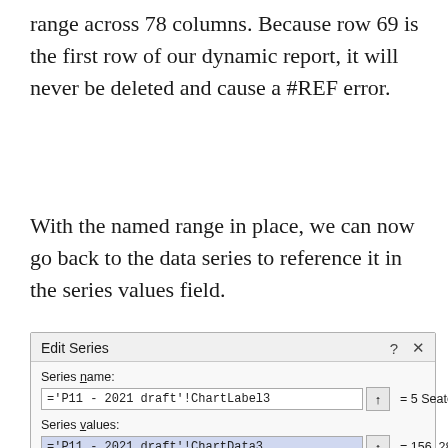range across 78 columns. Because row 69 is the first row of our dynamic report, it will never be deleted and cause a #REF error.
With the named range in place, we can now go back to the data series to reference it in the series values field.
[Figure (screenshot): Edit Series dialog box showing Series name field with ='P11 - 2021 draft'!ChartLabel3 = 5 Seater, and Series values field with ='P11 - 2021 draft'!ChartData3 = 156, 287, 235,... with OK and Cancel buttons at bottom.]